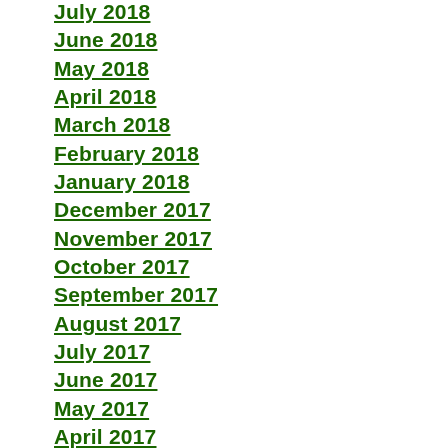July 2018
June 2018
May 2018
April 2018
March 2018
February 2018
January 2018
December 2017
November 2017
October 2017
September 2017
August 2017
July 2017
June 2017
May 2017
April 2017
March 2017
February 2017